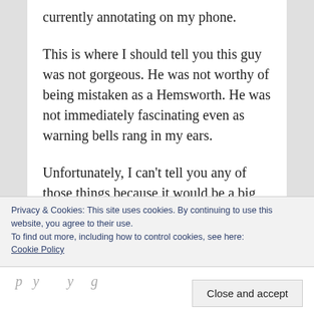currently annotating on my phone.
This is where I should tell you this guy was not gorgeous. He was not worthy of being mistaken as a Hemsworth. He was not immediately fascinating even as warning bells rang in my ears.
Unfortunately, I can't tell you any of those things because it would be a big, fat lie.
Botticelli's angels would have wept over his peppery-blue eyes, with just a hint of the
Privacy & Cookies: This site uses cookies. By continuing to use this website, you agree to their use.
To find out more, including how to control cookies, see here: Cookie Policy
Close and accept